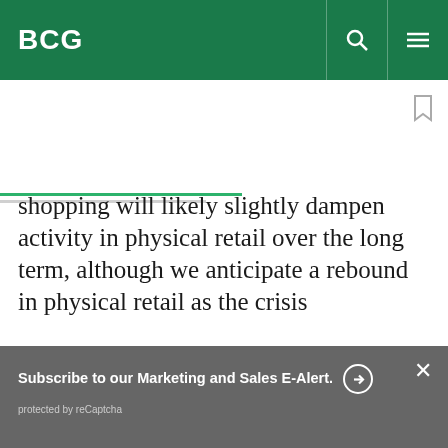BCG
shopping will likely slightly dampen activity in physical retail over the long term, although we anticipate a rebound in physical retail as the crisis
Subscribe to our Marketing and Sales E-Alert.
protected by reCaptcha
By using this site, you agree with our use of cookies.
I consent to cookies
Want to know more?
Read our Cookie Policy